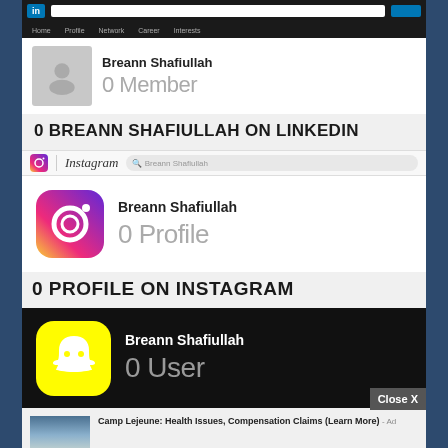LinkedIn navigation bar
[Figure (screenshot): LinkedIn profile card showing Breann Shafiullah with avatar placeholder, name and '0 Member' status]
0 BREANN SHAFIULLAH ON LINKEDIN
[Figure (screenshot): Instagram browser bar with Instagram logo and search field showing 'Breann Shafiullah']
[Figure (screenshot): Instagram profile card showing Instagram logo, Breann Shafiullah name and '0 Profile' status]
0 PROFILE ON INSTAGRAM
[Figure (screenshot): Snapchat card with yellow Snapchat logo icon, Breann Shafiullah name and '0 User' status on black background]
Close X
Camp Lejeune: Health Issues, Compensation Claims (Learn More) - Ad